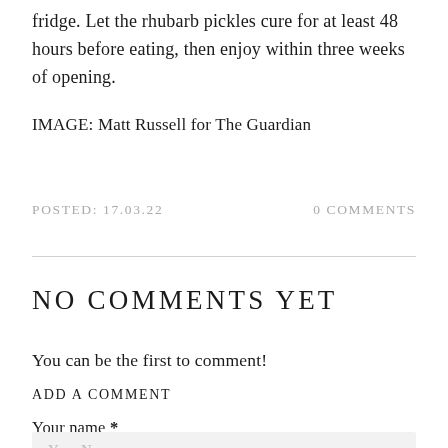fridge. Let the rhubarb pickles cure for at least 48 hours before eating, then enjoy within three weeks of opening.
IMAGE: Matt Russell for The Guardian
POSTED: 17.03.22    0 COMMENTS
NO COMMENTS YET
You can be the first to comment!
ADD A COMMENT
Your name *